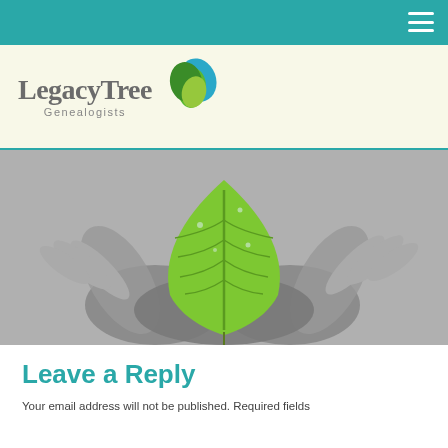[Figure (logo): LegacyTree Genealogists logo with leaf icon on cream background]
[Figure (photo): Black and white photo of two cupped hands holding a large green leaf]
Leave a Reply
Your email address will not be published. Required fields